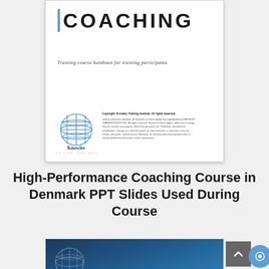[Figure (other): Document cover card showing COACHING title with blue vertical bar accent, subtitle 'Training course handouts for training participants', Knowles Training Institute globe logo and copyright notice]
High-Performance Coaching Course in Denmark PPT Slides Used During Course
[Figure (other): Bottom portion of a dark blue card with Knowles Training Institute globe logo, partially visible]